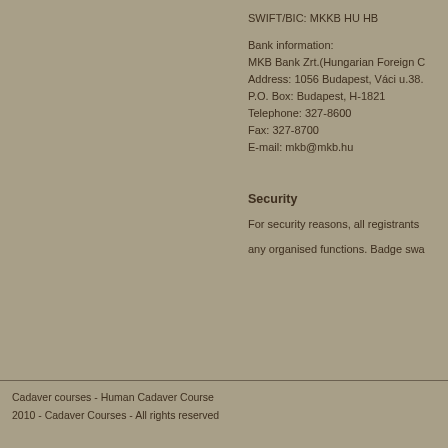SWIFT/BIC: MKKB HU HB
Bank information:
MKB Bank Zrt.(Hungarian Foreign C
Address: 1056 Budapest, Váci u.38.
P.O. Box: Budapest, H-1821
Telephone: 327-8600
Fax: 327-8700
E-mail: mkb@mkb.hu
Security
For security reasons, all registrants 
any organised functions. Badge swa
Cadaver courses - Human Cadaver Course
2010 - Cadaver Courses - All rights reserved